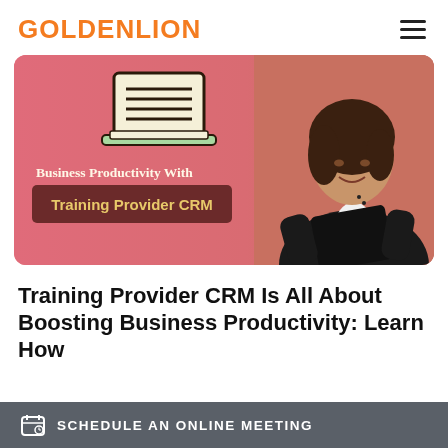GOLDENLION
[Figure (illustration): Banner image showing a laptop icon with document lines, text 'Business Productivity With Training Provider CRM' on a pink/coral gradient background, with a woman in a black blazer holding a tablet on the right side.]
Training Provider CRM Is All About Boosting Business Productivity: Learn How
SCHEDULE AN ONLINE MEETING